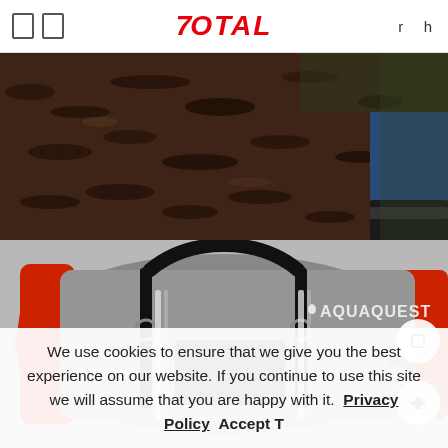7OTAL   r h
[Figure (photo): Outdoor scene showing dark ground cover/mulch with a person's leg in blue jeans and hiking boots visible at the right edge]
[Figure (photo): AquaQuest grey and red waterproof duffel bag with black straps and mesh pocket on ground]
We use cookies to ensure that we give you the best experience on our website. If you continue to use this site we will assume that you are happy with it.  Privacy Policy  Accept T